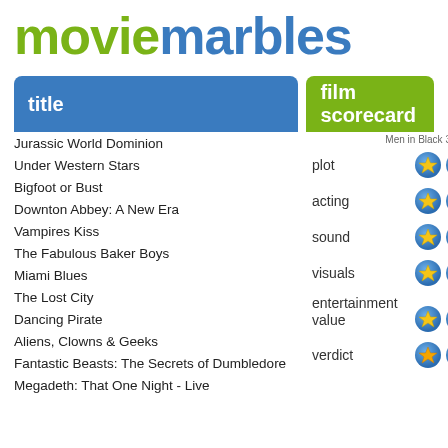moviemarbles
title
film scorecard
Jurassic World Dominion
Under Western Stars
Bigfoot or Bust
Downton Abbey: A New Era
Vampires Kiss
The Fabulous Baker Boys
Miami Blues
The Lost City
Dancing Pirate
Aliens, Clowns & Geeks
Fantastic Beasts: The Secrets of Dumbledore
Megadeth: That One Night - Live
Men in Black 3 | rev...
plot
acting
sound
visuals
entertainment value
verdict